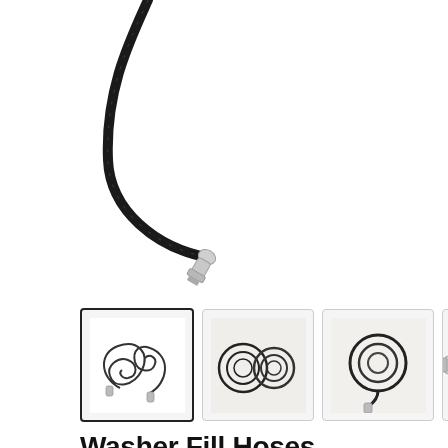[Figure (photo): Main product image: black braided washer fill hoses with chrome fittings on white background, partially cropped showing curved hoses with connectors]
[Figure (photo): Thumbnail row showing 4 views of the washer fill hoses: coiled pair (active/selected), two coiled hoses from above, single coiled hose, and straight hose close-up with next arrow]
Washer Fill Hoses
Amana 8212487RP
Features